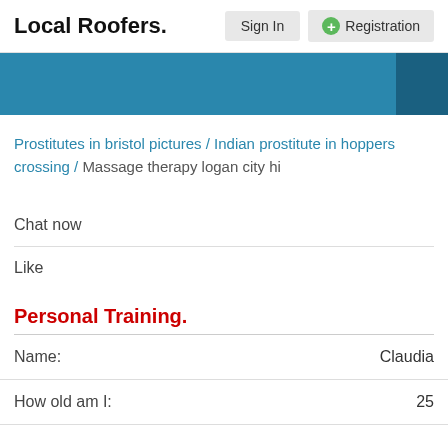Local Roofers.  Sign In  Registration
Prostitutes in bristol pictures / Indian prostitute in hoppers crossing / Massage therapy logan city hi
Chat now
Like
Personal Training.
|  |  |
| --- | --- |
| Name: | Claudia |
| How old am I: | 25 |